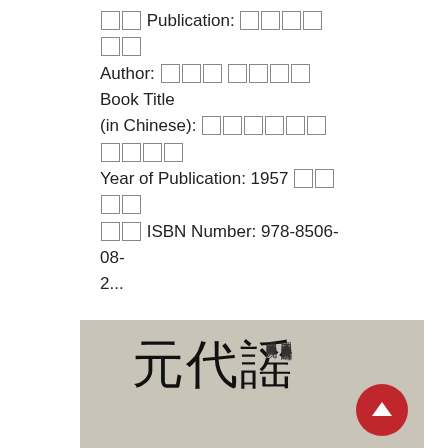Publisher: [Chinese chars] Author: [Chinese chars] Book Title (in Chinese): [Chinese chars] Year of Publication: 1957 [Chinese chars] ISBN Number: 978-8506-08-2...
Read More
[Figure (photo): Photo of a book cover with large Chinese calligraphy characters reading '元代謡' on the left and smaller vertical Chinese text on the right side, on a grey/beige background.]